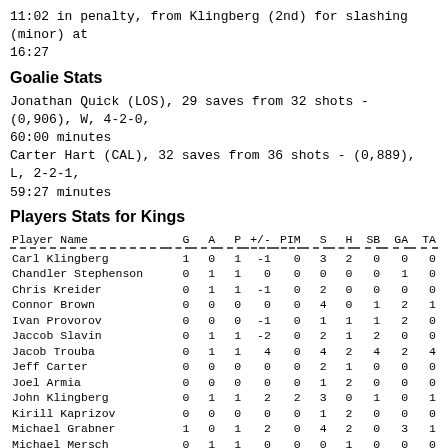11:02 in penalty, from Klingberg (2nd) for slashing (minor) at 16:27
Goalie Stats
Jonathan Quick (LOS), 29 saves from 32 shots - (0,906), W, 4-2-0, 60:00 minutes
Carter Hart (CAL), 32 saves from 36 shots - (0,889), L, 2-2-1, 59:27 minutes
Players Stats for Kings
| Player Name | G | A | P | +/- | PIM | S | H | SB | GA | TA |
| --- | --- | --- | --- | --- | --- | --- | --- | --- | --- | --- |
| Carl Klingberg | 1 | 0 | 1 | -1 | 0 | 3 | 2 | 0 | 0 | 0 |
| Chandler Stephenson | 0 | 1 | 1 | 0 | 0 | 0 | 0 | 0 | 1 | 0 |
| Chris Kreider | 0 | 1 | 1 | -1 | 0 | 2 | 0 | 0 | 0 | 0 |
| Connor Brown | 0 | 0 | 0 | 0 | 0 | 4 | 0 | 1 | 2 | 1 |
| Ivan Provorov | 0 | 0 | 0 | -1 | 0 | 1 | 1 | 1 | 2 | 0 |
| Jaccob Slavin | 0 | 1 | 1 | -2 | 0 | 2 | 1 | 2 | 0 | 0 |
| Jacob Trouba | 0 | 1 | 1 | 4 | 0 | 4 | 2 | 4 | 2 | 4 |
| Jeff Carter | 0 | 0 | 0 | 0 | 0 | 2 | 1 | 0 | 0 | 0 |
| Joel Armia | 0 | 0 | 0 | 0 | 0 | 1 | 2 | 0 | 0 | 0 |
| John Klingberg | 0 | 1 | 1 | 2 | 2 | 3 | 0 | 1 | 0 | 1 |
| Kirill Kaprizov | 0 | 0 | 0 | 0 | 0 | 1 | 2 | 0 | 0 | 0 |
| Michael Grabner | 1 | 0 | 1 | 2 | 0 | 4 | 2 | 0 | 3 | 1 |
| Michael Mersch | 0 | 1 | 1 | 0 | 0 | 0 | 1 | 0 | 0 | 0 |
| Nathan Mackinnon | 0 | 3 | 3 | 3 | 0 | 0 | 1 | 1 | 2 | 0 |